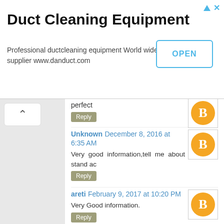[Figure (screenshot): Advertisement banner for Duct Cleaning Equipment with OPEN button and close icons]
perfect
Reply
Unknown December 8, 2016 at 6:35 AM
Very good information,tell me about stand ac
Reply
areti February 9, 2017 at 10:20 PM
Very Good information.
Reply
Mueeid Soomro February 10, 2017 at 11:12 PM
They first diagnose your AC unit to identify the exact problem and will then repair the unit in best possible so that you will get standard cooling